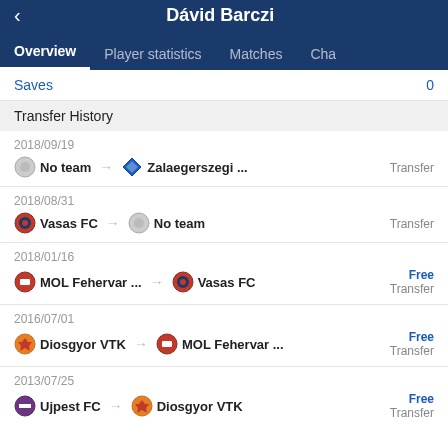Dávid Barczi
Overview | Player statistics | Matches | Cha
Saves  0
Transfer History
2018/09/19 — No team → Zalaegerszegi ... — Transfer
2018/08/31 — Vasas FC → No team — Transfer
2018/01/16 — MOL Fehervar ... → Vasas FC — Free Transfer
2016/07/01 — Diosgyor VTK → MOL Fehervar ... — Free Transfer
2013/07/25 — Ujpest FC → Diosgyor VTK — Free Transfer